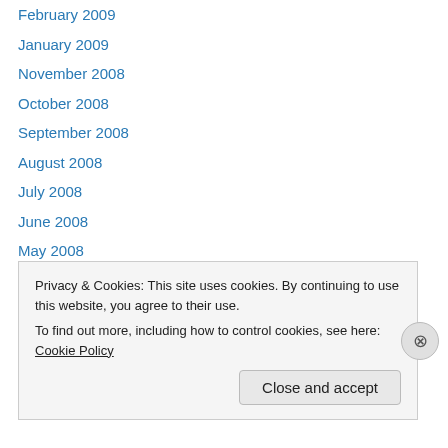February 2009
January 2009
November 2008
October 2008
September 2008
August 2008
July 2008
June 2008
May 2008
April 2008
March 2008
February 2008
January 2008
December 2007
Privacy & Cookies: This site uses cookies. By continuing to use this website, you agree to their use.
To find out more, including how to control cookies, see here: Cookie Policy